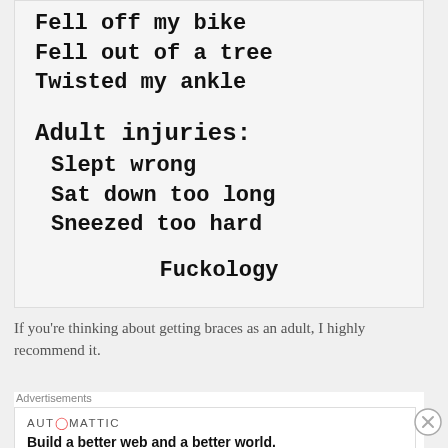Fell off my bike
Fell out of a tree
Twisted my ankle
Adult injuries:
Slept wrong
Sat down too long
Sneezed too hard
Fuckology
If you're thinking about getting braces as an adult, I highly recommend it.
Advertisements
AUTOMATTIC
Build a better web and a better world.